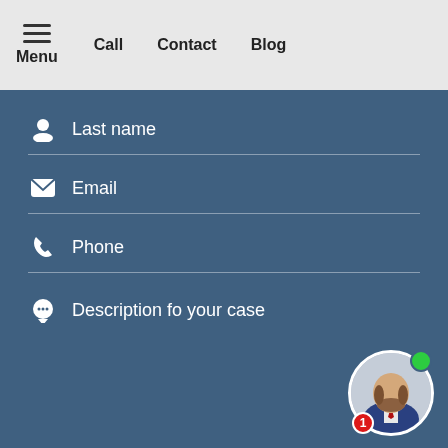Menu  Call  Contact  Blog
Last name
Email
Phone
Description fo your case
[Figure (photo): Chat avatar of a man in a suit with a green online indicator dot and a red badge showing '1']